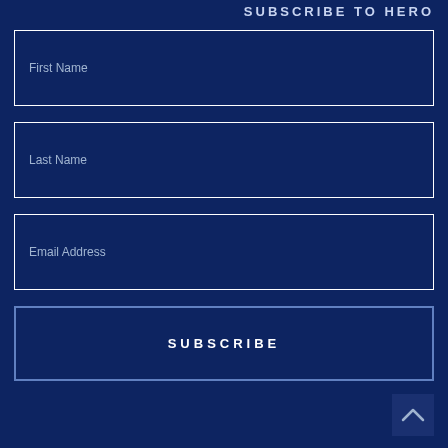SUBSCRIBE TO HERO
First Name
Last Name
Email Address
SUBSCRIBE